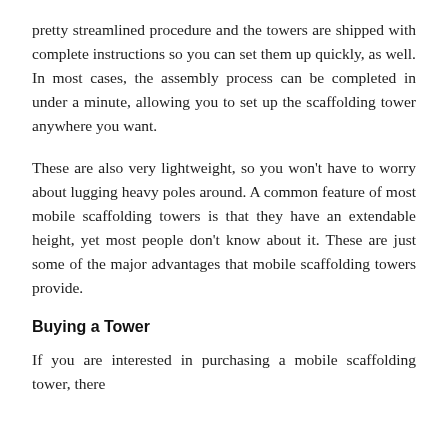pretty streamlined procedure and the towers are shipped with complete instructions so you can set them up quickly, as well. In most cases, the assembly process can be completed in under a minute, allowing you to set up the scaffolding tower anywhere you want.
These are also very lightweight, so you won't have to worry about lugging heavy poles around. A common feature of most mobile scaffolding towers is that they have an extendable height, yet most people don't know about it. These are just some of the major advantages that mobile scaffolding towers provide.
Buying a Tower
If you are interested in purchasing a mobile scaffolding tower, there